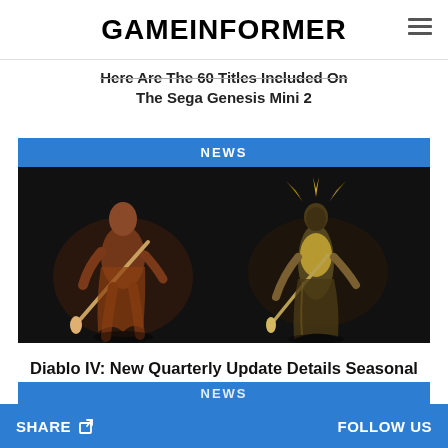GAMEINFORMER
Here Are The 60 Titles Included On The Sega Genesis Mini 2
[Figure (photo): NEWS badge above a dark screenshot showing two fantasy/demon characters from Diablo IV standing against a dark background]
Diablo IV: New Quarterly Update Details Seasonal Content, Post-Launch Plans, Cosmetics, And More
SHARE  FOLLOW US